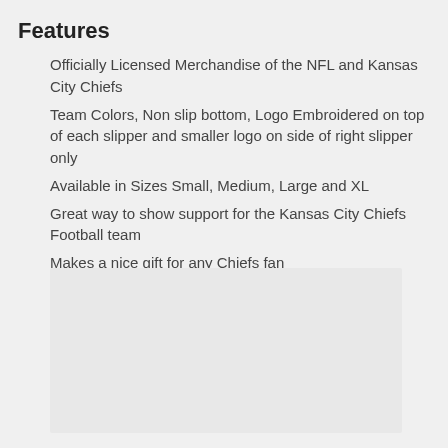Features
Officially Licensed Merchandise of the NFL and Kansas City Chiefs
Team Colors, Non slip bottom, Logo Embroidered on top of each slipper and smaller logo on side of right slipper only
Available in Sizes Small, Medium, Large and XL
Great way to show support for the Kansas City Chiefs Football team
Makes a nice gift for any Chiefs fan
[Figure (photo): Empty light gray image placeholder box]